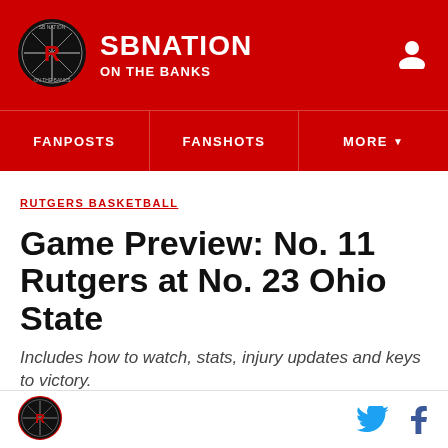SB NATION / ON THE BANKS
[Figure (logo): SB Nation On The Banks circular logo with R emblem]
FANPOSTS | FANSHOTS | MORE
RUTGERS BASKETBALL
Game Preview: No. 11 Rutgers at No. 23 Ohio State
Includes how to watch, stats, injury updates and keys to victory.
By Aaron Breitman | @aaron_breitman | Dec 22, 2020, 1:55pm EST